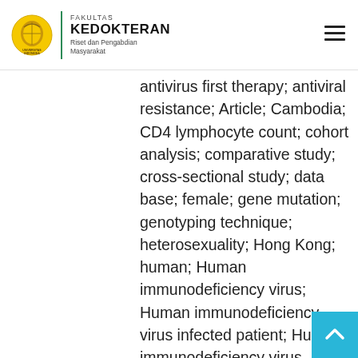Universitas Indonesia — Fakultas Kedokteran — Riset dan Pengabdian Masyarakat
antivirus first therapy; antiviral resistance; Article; Cambodia; CD4 lymphocyte count; cohort analysis; comparative study; cross-sectional study; data base; female; gene mutation; genotyping technique; heterosexuality; Hong Kong; human; Human immunodeficiency virus; Human immunodeficiency virus infected patient; Human immunodeficiency virus infection; India; Indonesia; injection drug user; Japan; major clinical study; Malaysia; male; men who have sex with men; middle aged; Philippines; priority journal; prospective study;